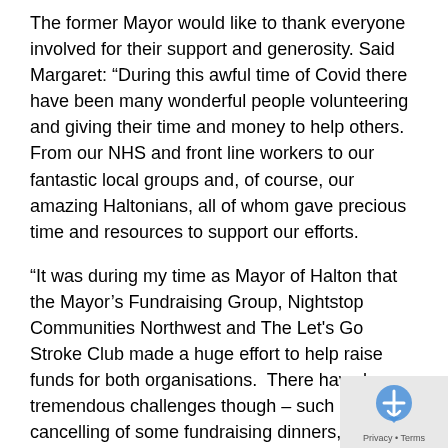The former Mayor would like to thank everyone involved for their support and generosity. Said Margaret: “During this awful time of Covid there have been many wonderful people volunteering and giving their time and money to help others. From our NHS and front line workers to our fantastic local groups and, of course, our amazing Haltonians, all of whom gave precious time and resources to support our efforts.
“It was during my time as Mayor of Halton that the Mayor’s Fundraising Group, Nightstop Communities Northwest and The Let's Go Stroke Club made a huge effort to help raise funds for both organisations. There have been tremendous challenges though – such as the cancelling of some fundraising dinners, Easter and Christmas Bingo, the Vintage Rally and Town Hall Open Day – so we really did have to dig deep and just move forward.
[Figure (other): Cookie consent overlay with reCAPTCHA/privacy icon, showing Privacy and Terms text]